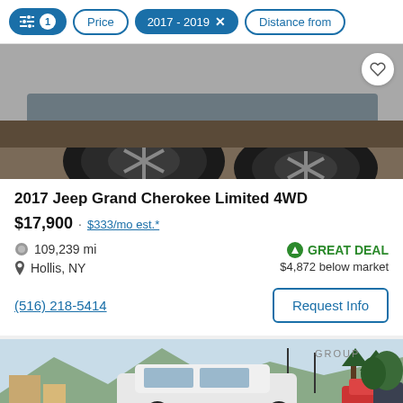Filter controls: sliders icon with badge 1, Price, 2017 - 2019 ×, Distance from
[Figure (photo): Close-up photo of a vehicle's front wheel and tire from below, with a heart/favorite button in top right corner]
2017 Jeep Grand Cherokee Limited 4WD
$17,900 · $333/mo est.*
109,239 mi
Hollis, NY
GREAT DEAL
$4,872 below market
(516) 218-5414
Request Info
[Figure (photo): Photo of a white SUV (likely Jeep Grand Cherokee or similar) in a dealership lot with mountains and trees in background, GROUP text visible]